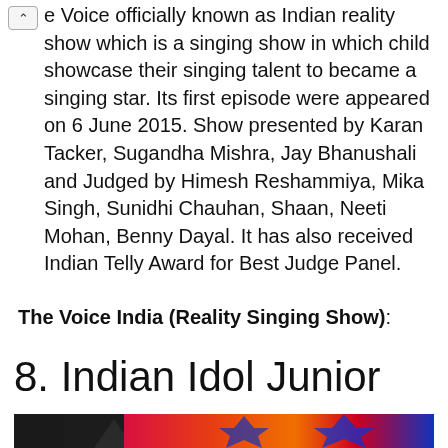e Voice officially known as Indian reality show which is a singing show in which child showcase their singing talent to became a singing star. Its first episode were appeared on 6 June 2015. Show presented by Karan Tacker, Sugandha Mishra, Jay Bhanushali and Judged by Himesh Reshammiya, Mika Singh, Sunidhi Chauhan, Shaan, Neeti Mohan, Benny Dayal. It has also received Indian Telly Award for Best Judge Panel.
The Voice India (Reality Singing Show):
8. Indian Idol Junior
[Figure (photo): Partial view of Indian Idol Junior show image with colorful background featuring star shapes and performer silhouettes]